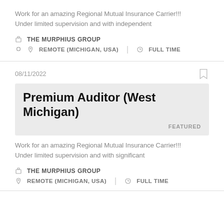Work for an amazing Regional Mutual Insurance Carrier!!! Under limited supervision and with independent
THE MURPHIUS GROUP
REMOTE (MICHIGAN, USA)   FULL TIME
08/11/2022
Premium Auditor (West Michigan)
FEATURED
Work for an amazing Regional Mutual Insurance Carrier!!! Under limited supervision and with significant
THE MURPHIUS GROUP
REMOTE (MICHIGAN, USA)   FULL TIME